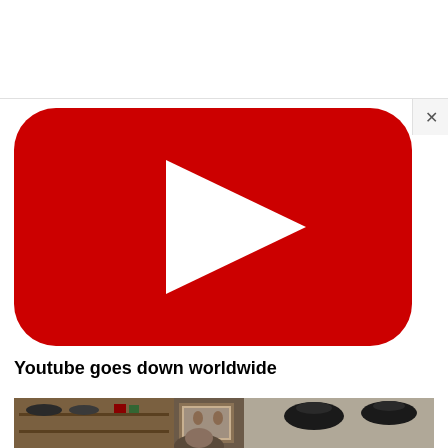[Figure (logo): YouTube logo: red rounded rectangle with white play triangle in center, on white background. An X close button appears in the upper right corner.]
Youtube goes down worldwide
[Figure (photo): A man sitting in front of a bookshelf filled with military hats and memorabilia, including framed photos. Military caps are visible on the wall to the right.]